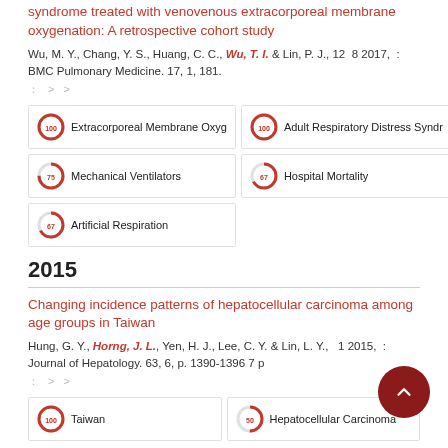syndrome treated with venovenous extracorporeal membrane oxygenation: A retrospective cohort study
Wu, M. Y., Chang, Y. S., Huang, C. C., Wu, T. I. & Lin, P. J., 12 8 2017, : BMC Pulmonary Medicine. 17, 1, 181.
…
Extracorporeal Membrane Oxyg
Adult Respiratory Distress Syndr
Mechanical Ventilators
Hospital Mortality
Artificial Respiration
2015
Changing incidence patterns of hepatocellular carcinoma among age groups in Taiwan
Hung, G. Y., Horng, J. L., Yen, H. J., Lee, C. Y. & Lin, L. Y., 2015, : Journal of Hepatology. 63, 6, p. 1390-1396 7 p.
…
Taiwan
Hepatocellular Carcinoma